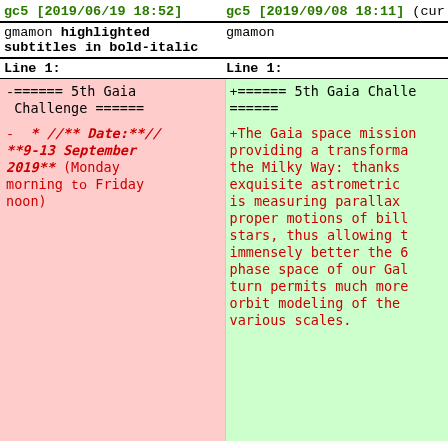gc5 [2019/06/19 18:52]   gc5 [2019/09/08 18:11] (cur
gmamon highlighted subtitles in bold-italic   gmamon
Line 1:   Line 1:
-====== 5th Gaia Challenge ======   +====== 5th Gaia Challe ======
-   * //** Date:**// **9-13 September 2019** (Monday morning to Friday noon)   +The Gaia space mission providing a transforma the Milky Way: thanks exquisite astrometric is measuring parallax proper motions of bill stars, thus allowing t immensely better the 6 phase space of our Gal turn permits much more orbit modeling of the various scales.